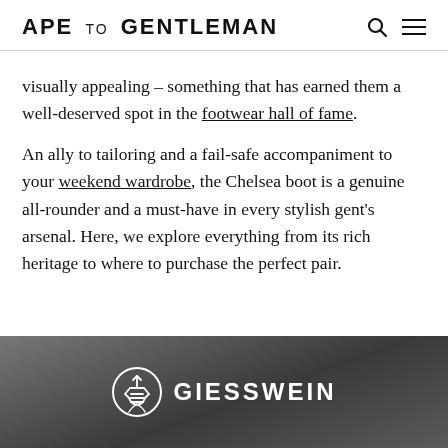APE TO GENTLEMAN
visually appealing – something that has earned them a well-deserved spot in the footwear hall of fame.
An ally to tailoring and a fail-safe accompaniment to your weekend wardrobe, the Chelsea boot is a genuine all-rounder and a must-have in every stylish gent's arsenal. Here, we explore everything from its rich heritage to where to purchase the perfect pair.
[Figure (photo): Dark Chelsea boots on a textured grey surface with GIESSWEIN brand logo overlay]